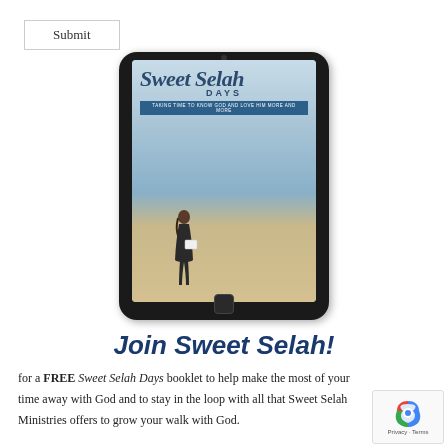Submit
[Figure (illustration): A tablet device displaying the cover of 'Sweet Selah Days' book, showing a woman standing on a beach reading, with sky and ocean in the background. The cover title reads 'Sweet Selah Days' in script and sans-serif fonts with the tagline 'Taking time to know God and love him more and more'.]
Join Sweet Selah!
for a FREE Sweet Selah Days booklet to help make the most of your time away with God and to stay in the loop with all that Sweet Selah Ministries offers to grow your walk with God.